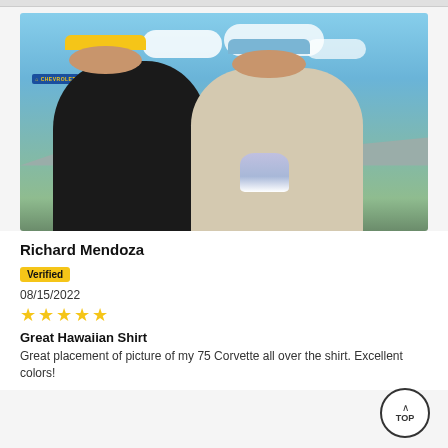[Figure (photo): Two men standing together outdoors at a car show. Left man wears a black polo shirt and yellow cap with sunglasses. Right man wears a Hawaiian shirt and blue cap with sunglasses, holding a trophy. Background shows a Chevrolet dealership sign and mountains.]
Richard Mendoza
Verified
08/15/2022
★★★★★
Great Hawaiian Shirt
Great placement of picture of my 75 Corvette all over the shirt. Excellent colors!